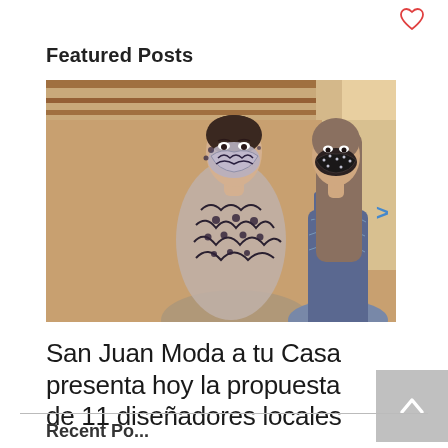Featured Posts
[Figure (photo): Two young women wearing decorative face masks and elegant dresses in a hotel lobby setting. The woman in the foreground wears a sheer gown with black scroll embroidery and a matching ornate mask. The woman behind her wears a dark blue dress and a bedazzled black mask.]
San Juan Moda a tu Casa presenta hoy la propuesta de 11 diseñadores locales
Recent Posts